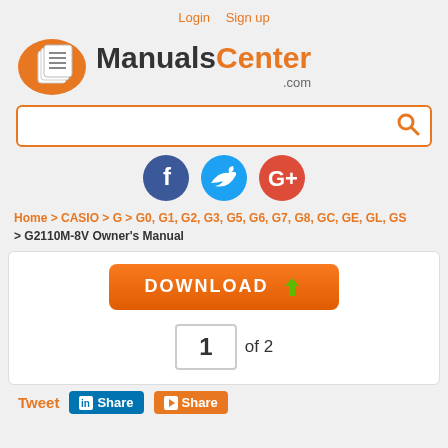Login  Sign up
[Figure (logo): ManualsCenter.com logo with orange oval icon and bold text]
[Figure (screenshot): Search bar with orange border and search icon]
[Figure (infographic): Social icons: Facebook, Twitter, Google+]
Home > CASIO > G > G0, G1, G2, G3, G5, G6, G7, G8, GC, GE, GL, GS > G2110M-8V Owner's Manual
[Figure (screenshot): Download button and page navigation showing 1 of 2]
Tweet  Share  Share